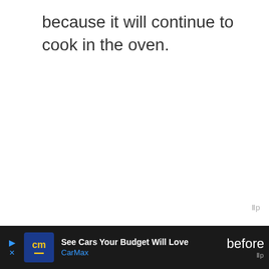because it will continue to cook in the oven.
If you've accidentally overcooked the
[Figure (other): CarMax advertisement banner with logo, headline 'See Cars Your Budget Will Love', subline 'CarMax', and a blue navigation arrow icon]
before